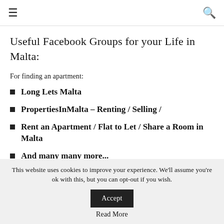☰  🔍
Useful Facebook Groups for your Life in Malta:
For finding an apartment:
Long Lets Malta
PropertiesInMalta – Renting / Selling /
Rent an Apartment / Flat to Let / Share a Room in Malta
And many many more...
This website uses cookies to improve your experience. We'll assume you're ok with this, but you can opt-out if you wish.
Read More